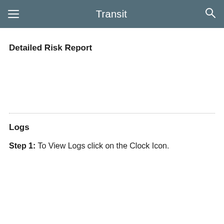Transit
Detailed Risk Report
Logs
Step 1: To View Logs click on the Clock Icon.